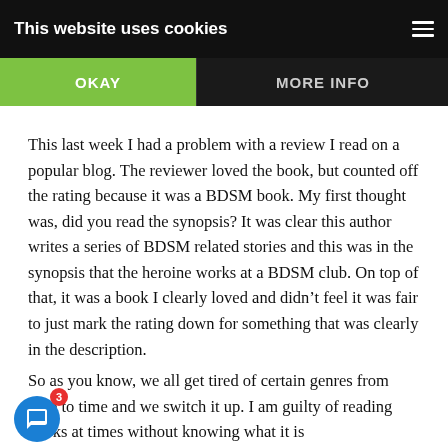This website uses cookies
OKAY
MORE INFO
This last week I had a problem with a review I read on a popular blog. The reviewer loved the book, but counted off the rating because it was a BDSM book. My first thought was, did you read the synopsis? It was clear this author writes a series of BDSM related stories and this was in the synopsis that the heroine works at a BDSM club. On top of that, it was a book I clearly loved and didn't feel it was fair to just mark the rating down for something that was clearly in the description.
So as you know, we all get tired of certain genres from time to time and we switch it up. I am guilty of reading books at times without knowing what it is